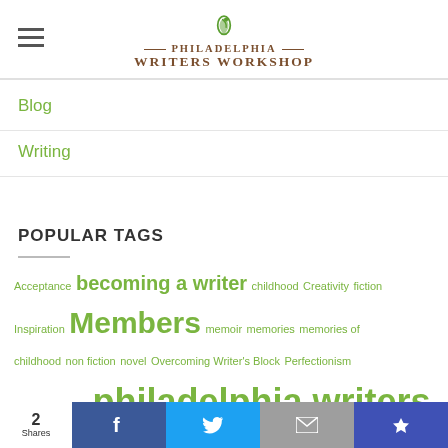[Figure (logo): Philadelphia Writers Workshop logo with green bird/feather icon and brown serif text]
Blog
Writing
POPULAR TAGS
Acceptance becoming a writer childhood Creativity fiction Inspiration Members memoir memories memories of childhood non fiction novel Overcoming Writer's Block Perfectionism personal essay philadelphia writers workshop play writing remember childhood